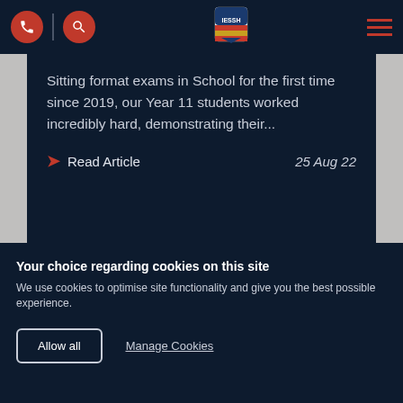School navigation bar with phone icon, search icon, school crest logo, and hamburger menu
Sitting format exams in School for the first time since 2019, our Year 11 students worked incredibly hard, demonstrating their...
Read Article   25 Aug 22
[Figure (photo): Blurred photo of a student with dark hair, with a reddish-brown wall and green foliage bokeh background]
Your choice regarding cookies on this site
We use cookies to optimise site functionality and give you the best possible experience.
Allow all   Manage Cookies